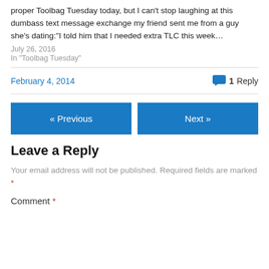proper Toolbag Tuesday today, but I can't stop laughing at this dumbass text message exchange my friend sent me from a guy she's dating:“I told him that I needed extra TLC this week…
July 26, 2016
In "Toolbag Tuesday"
February 4, 2014
1 Reply
« Previous
Next »
Leave a Reply
Your email address will not be published. Required fields are marked *
Comment *